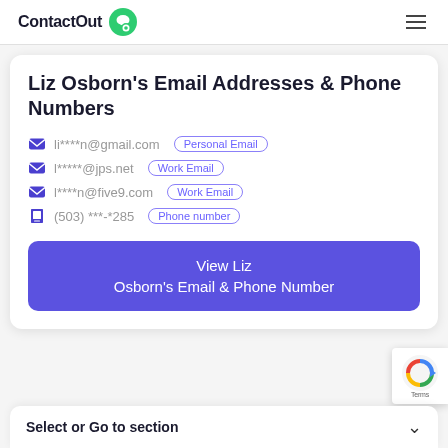ContactOut
Liz Osborn's Email Addresses & Phone Numbers
li****n@gmail.com  Personal Email
l*****@jps.net  Work Email
l****n@five9.com  Work Email
(503) ***-*285  Phone number
View Liz Osborn's Email & Phone Number
Select or Go to section